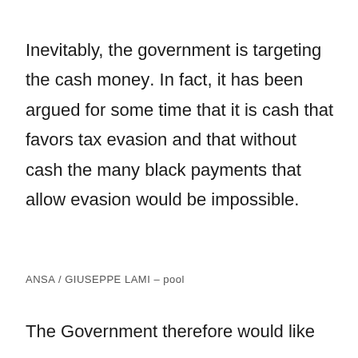Inevitably, the government is targeting the cash money. In fact, it has been argued for some time that it is cash that favors tax evasion and that without cash the many black payments that allow evasion would be impossible.
ANSA / GIUSEPPE LAMI – pool
The Government therefore would like